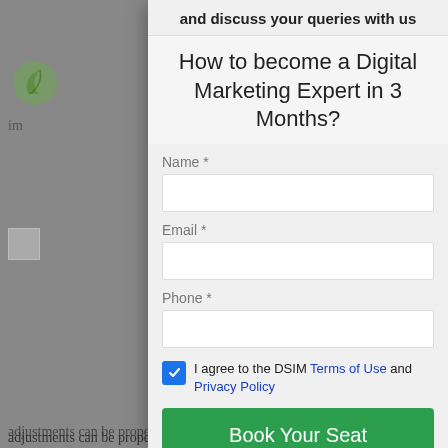[Figure (logo): Green leaf logo icon in top-left background area]
im
[Figure (photo): Broken image placeholder in background]
[Figure (photo): Broken image placeholder in background]
It su wo pe adjustments can be properly tailored for
and discuss your queries with us
How to become a Digital Marketing Expert in 3 Months?
Name *
Email *
Phone *
I agree to the DSIM Terms of Use and Privacy Policy
Book Your Seat